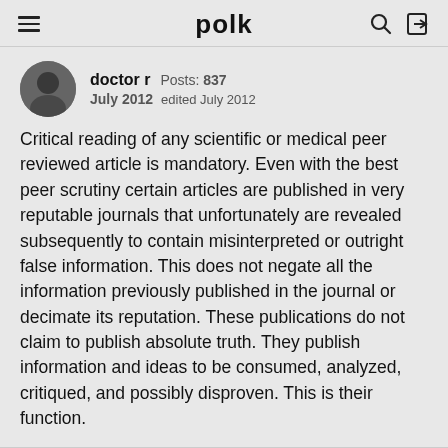polk
doctor r  Posts: 837
July 2012  edited July 2012
Critical reading of any scientific or medical peer reviewed article is mandatory. Even with the best peer scrutiny certain articles are published in very reputable journals that unfortunately are revealed subsequently to contain misinterpreted or outright false information. This does not negate all the information previously published in the journal or decimate its reputation. These publications do not claim to publish absolute truth. They publish information and ideas to be consumed, analyzed, critiqued, and possibly disproven. This is their function.